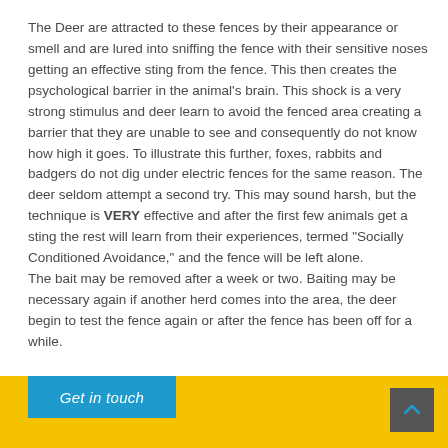The Deer are attracted to these fences by their appearance or smell and are lured into sniffing the fence with their sensitive noses getting an effective sting from the fence. This then creates the psychological barrier in the animal's brain. This shock is a very strong stimulus and deer learn to avoid the fenced area creating a barrier that they are unable to see and consequently do not know how high it goes. To illustrate this further, foxes, rabbits and badgers do not dig under electric fences for the same reason. The deer seldom attempt a second try. This may sound harsh, but the technique is VERY effective and after the first few animals get a sting the rest will learn from their experiences, termed "Socially Conditioned Avoidance," and the fence will be left alone. The bait may be removed after a week or two. Baiting may be necessary again if another herd comes into the area, the deer begin to test the fence again or after the fence has been off for a while.
[Figure (other): Blue 'Get in touch' button on yellow footer bar with dark scroll-to-top arrow button]